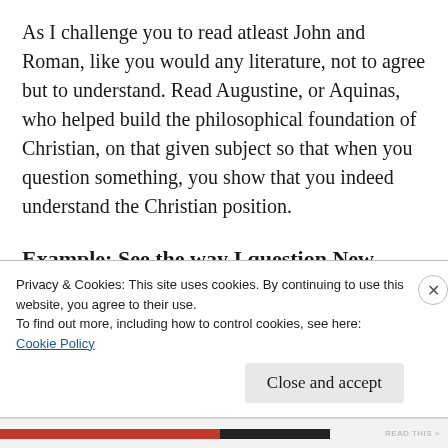As I challenge you to read atleast John and Roman, like you would any literature, not to agree but to understand. Read Augustine, or Aquinas, who helped build the philosophical foundation of Christian, on that given subject so that when you question something, you show that you indeed understand the Christian position.
Example: See the way I question New
Atheist moral position here:
Privacy & Cookies: This site uses cookies. By continuing to use this website, you agree to their use.
To find out more, including how to control cookies, see here:
Cookie Policy
Close and accept